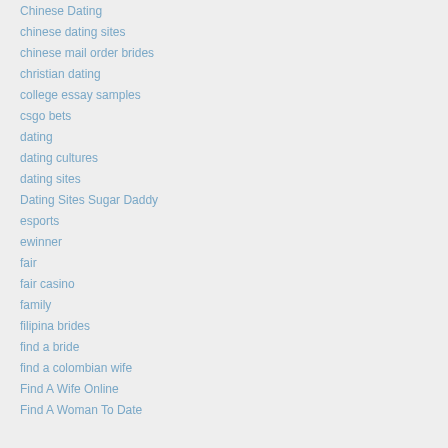Chinese Dating
chinese dating sites
chinese mail order brides
christian dating
college essay samples
csgo bets
dating
dating cultures
dating sites
Dating Sites Sugar Daddy
esports
ewinner
fair
fair casino
family
filipina brides
find a bride
find a colombian wife
Find A Wife Online
Find A Woman To Date